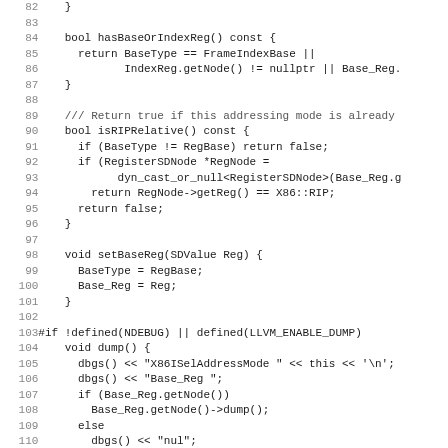[Figure (screenshot): Source code listing in monospace font showing C++ code for X86ISelAddressMode, lines 82-114, with line numbers on the left and code on the right. Functions include hasBaseOrIndexReg(), isRIPRelative(), setBaseReg(), and start of a debug dump() block.]